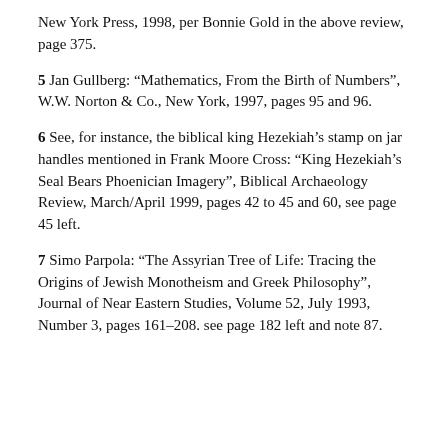New York Press, 1998, per Bonnie Gold in the above review, page 375.
5 Jan Gullberg: “Mathematics, From the Birth of Numbers”, W.W. Norton & Co., New York, 1997, pages 95 and 96.
6 See, for instance, the biblical king Hezekiah’s stamp on jar handles mentioned in Frank Moore Cross: “King Hezekiah’s Seal Bears Phoenician Imagery”, Biblical Archaeology Review, March/April 1999, pages 42 to 45 and 60, see page 45 left.
7 Simo Parpola: “The Assyrian Tree of Life: Tracing the Origins of Jewish Monotheism and Greek Philosophy”, Journal of Near Eastern Studies, Volume 52, July 1993, Number 3, pages 161–208. see page 182 left and note 87.